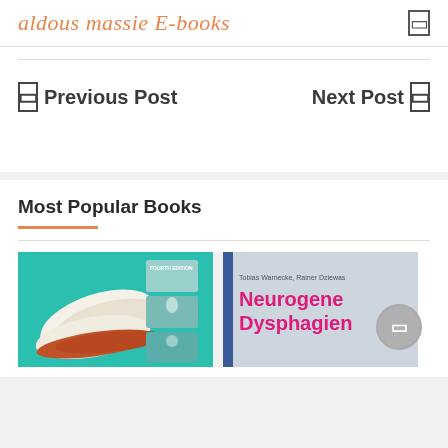aldous massie E-books
← Previous Post   Next Post →
Most Popular Books
[Figure (photo): Book cover: sports/fitness book, fourth edition, showing athletic shoes on a teal background with smaller action photos]
[Figure (photo): Book cover: Neurogene Dysphagien by Tobias Warnecke, Rainer Dziewas, gray cover with blue spine stripe and magenta/pink title text]